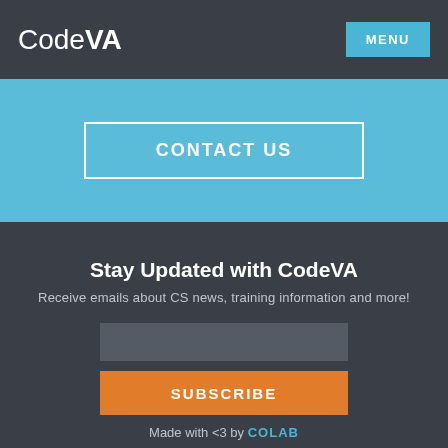CodeVA  MENU
CONTACT US
Stay Updated with CodeVA
Receive emails about CS news, training information and more!
SUBSCRIBE
Made with <3 by COLAB